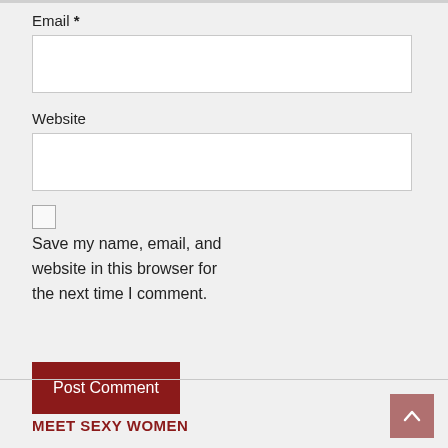Email *
Website
Save my name, email, and website in this browser for the next time I comment.
Post Comment
MEET SEXY WOMEN